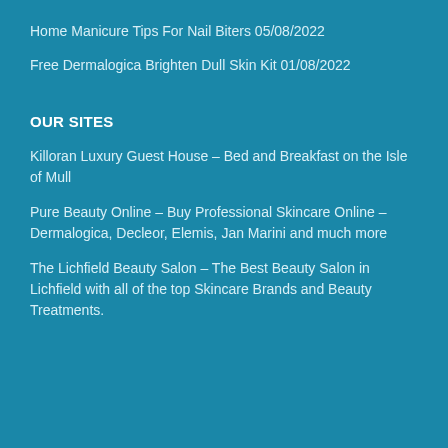Home Manicure Tips For Nail Biters 05/08/2022
Free Dermalogica Brighten Dull Skin Kit 01/08/2022
OUR SITES
Killoran Luxury Guest House – Bed and Breakfast on the Isle of Mull
Pure Beauty Online – Buy Professional Skincare Online – Dermalogica, Decleor, Elemis, Jan Marini and much more
The Lichfield Beauty Salon – The Best Beauty Salon in Lichfield with all of the top Skincare Brands and Beauty Treatments.